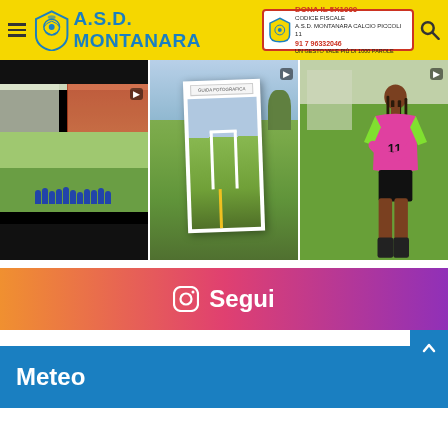A.S.D. MONTANARA — DONA IL 5X1000
[Figure (photo): Three Instagram photos: left shows youth soccer team huddled on grass field with building behind; center shows phone/mirror photo of a soccer field with goal post; right shows a female soccer player in pink and green jersey standing on a grass field.]
[Figure (infographic): Instagram follow button banner with gradient orange-to-purple background showing camera icon and Segui (Follow) text]
Meteo